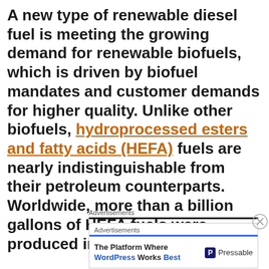A new type of renewable diesel fuel is meeting the growing demand for renewable biofuels, which is driven by biofuel mandates and customer demands for higher quality. Unlike other biofuels, hydroprocessed esters and fatty acids (HEFA) fuels are nearly indistinguishable from their petroleum counterparts. Worldwide, more than a billion gallons of HEFA fuels were produced in 2014.
Advertisements
Advertisements
The Platform Where WordPress Works Best | Pressable